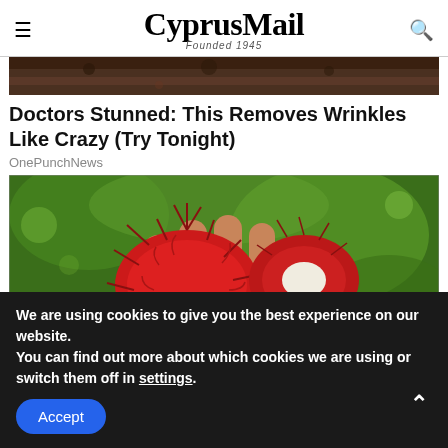CyprusMail — Founded 1945
[Figure (photo): Top of an article image, dark brown/chocolate background, partially cropped]
Doctors Stunned: This Removes Wrinkles Like Crazy (Try Tonight)
OnePunchNews
[Figure (photo): A hand holding red spiky rambutan fruits against a green leafy background]
We are using cookies to give you the best experience on our website.
You can find out more about which cookies we are using or switch them off in settings.
Accept